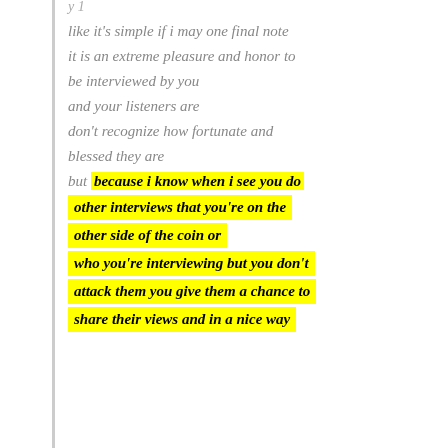like it's simple if i may one final note it is an extreme pleasure and honor to be interviewed by you and your listeners are don't recognize how fortunate and blessed they are but because i know when i see you do other interviews that you're on the other side of the coin or who you're interviewing but you don't attack them you give them a chance to share their views and in a nice way